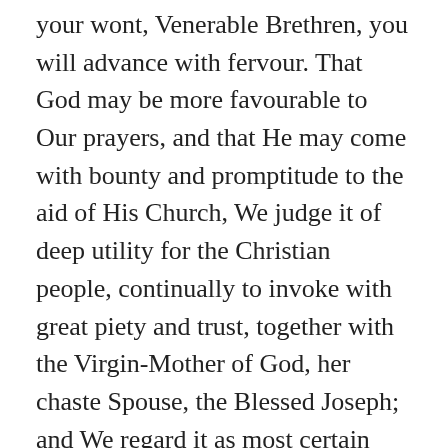your wont, Venerable Brethren, you will advance with fervour. That God may be more favourable to Our prayers, and that He may come with bounty and promptitude to the aid of His Church, We judge it of deep utility for the Christian people, continually to invoke with great piety and trust, together with the Virgin-Mother of God, her chaste Spouse, the Blessed Joseph; and We regard it as most certain that this will be most pleasing to the Virgin herself. On the subject of this devotion, of which We speak publicly for the first time to-day, We know without doubt that not only is the people inclined to it, but that it is already